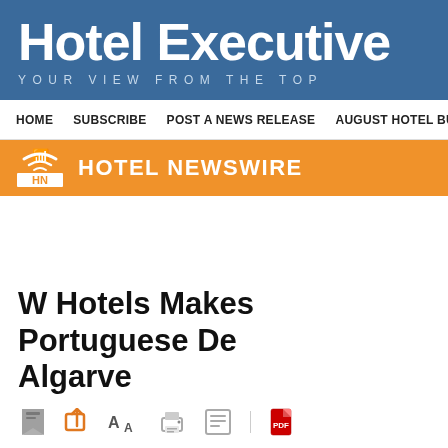Hotel Executive YOUR VIEW FROM THE TOP
HOME  SUBSCRIBE  POST A NEWS RELEASE  AUGUST HOTEL BUSI
[Figure (logo): Hotel Newswire orange banner logo with HN icon and wifi symbol]
W Hotels Makes Portuguese De Algarve